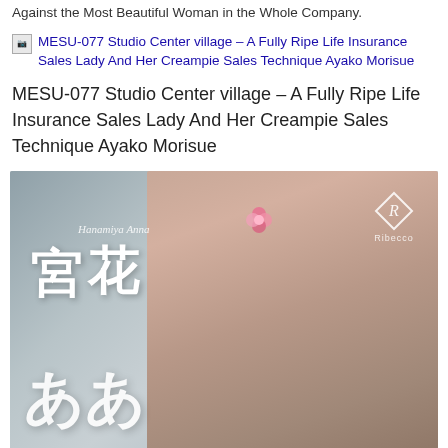Against the Most Beautiful Woman in the Whole Company.
[img] MESU-077 Studio Center village – A Fully Ripe Life Insurance Sales Lady And Her Creampie Sales Technique Ayako Morisue
MESU-077 Studio Center village – A Fully Ripe Life Insurance Sales Lady And Her Creampie Sales Technique Ayako Morisue
[Figure (photo): Japanese DVD cover art with large kanji characters on the left side, a Japanese woman with a pink flower in her hair, wearing a blue floral kimono, and the Ribecco studio logo in the top right corner.]